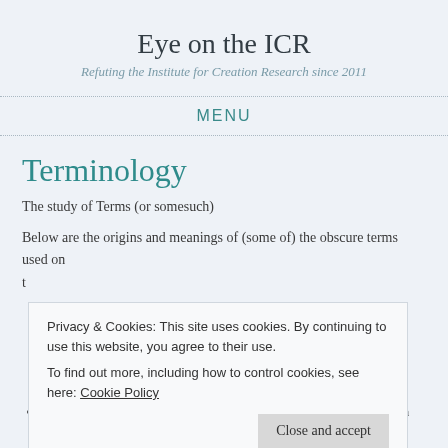Eye on the ICR
Refuting the Institute for Creation Research since 2011
MENU
Terminology
The study of Terms (or somesuch)
Below are the origins and meanings of (some of) the obscure terms used on t
Privacy & Cookies: This site uses cookies. By continuing to use this website, you agree to their use.
To find out more, including how to control cookies, see here: Cookie Policy
Close and accept
CRS: The Creation Research Society. An allied organisation known for